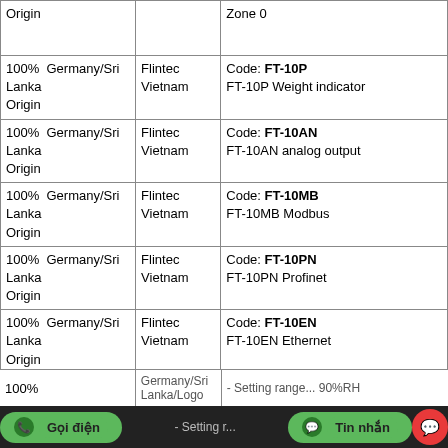| Origin | Manufacturer/Logo | Description/Code |
| --- | --- | --- |
|  |  | Zone 0 |
| 100% Germany/Sri Lanka Origin | Flintec Vietnam | Code: FT-10P
FT-10P Weight indicator |
| 100% Germany/Sri Lanka Origin | Flintec Vietnam | Code: FT-10AN
FT-10AN analog output |
| 100% Germany/Sri Lanka Origin | Flintec Vietnam | Code: FT-10MB
FT-10MB Modbus |
| 100% Germany/Sri Lanka Origin | Flintec Vietnam | Code: FT-10PN
FT-10PN Profinet |
| 100% Germany/Sri Lanka Origin | Flintec Vietnam | Code: FT-10EN
FT-10EN Ethernet |
|  |  | Replaced by: 01230.0-00 (01203.9-00)
Electrical Hygrotherm ETF 012
- Operating voltage: 100-240VAC, 50/60Hz |
| 100% | Germany/Sri Lanka/Logo | - Setting range... 90%RH |